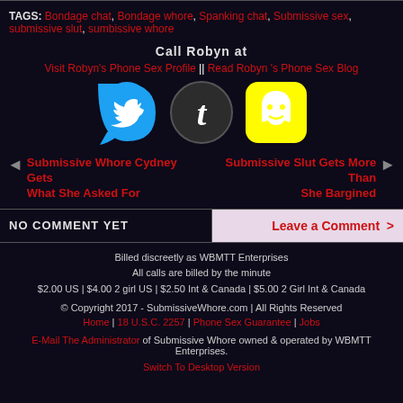TAGS: Bondage chat, Bondage whore, Spanking chat, Submissive sex, submissive slut, sumbissive whore
Call Robyn at
Visit Robyn's Phone Sex Profile || Read Robyn 's Phone Sex Blog
[Figure (illustration): Three social media icons: Twitter (blue bird speech bubble), Tumblr (dark circle with white t), Snapchat (yellow square with ghost)]
◄ Submissive Whore Cydney Gets What She Asked For
Submissive Slut Gets More Than She Bargined ►
NO COMMENT YET
Leave a Comment >
Billed discreetly as WBMTT Enterprises
All calls are billed by the minute
$2.00 US | $4.00 2 girl US | $2.50 Int & Canada | $5.00 2 Girl Int & Canada
© Copyright 2017 - SubmissiveWhore.com | All Rights Reserved
Home | 18 U.S.C. 2257 | Phone Sex Guarantee | Jobs
E-Mail The Administrator of Submissive Whore owned & operated by WBMTT Enterprises.
Switch To Desktop Version